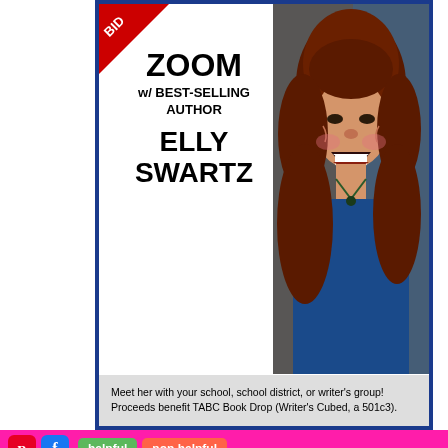[Figure (infographic): Event card with blue border showing ZOOM w/ BEST-SELLING AUTHOR ELLY SWARTZ with photo of laughing woman with red hair, red bid badge in corner, and gray info bar at bottom. Below is a pink background with social share buttons, a decorative crown/chandelier ornament, and large bold text reading CAN'T KEEP CALM.]
ZOOM
w/ BEST-SELLING
AUTHOR
ELLY
SWARTZ
Meet her with your school, school district, or writer's group! Proceeds benefit TABC Book Drop (Writer's Cubed, a 501c3).
helpful  non helpful
CAN'T KEEP
CALM